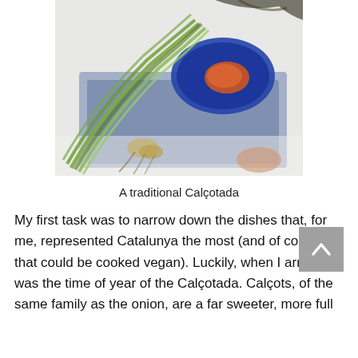[Figure (photo): A photo of calçots (spring onions/green onions) laid across a blue cloth napkin, with a small blue ceramic plate holding a red romesco sauce, on a white table surface. The calçots have long green stems and dried brown roots.]
A traditional Calçotada
My first task was to narrow down the dishes that, for me, represented Catalunya the most (and of course that could be cooked vegan). Luckily, when I arrived it was the time of year of the Calçotada. Calçots, of the same family as the onion, are a far sweeter, more full